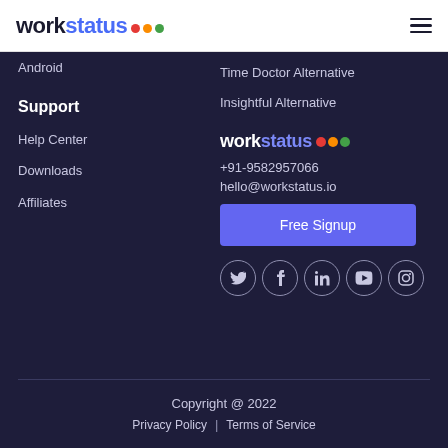workstatus [logo with colored dots] [hamburger menu]
Android
Time Doctor Alternative
Insightful Alternative
Support
Help Center
Downloads
Affiliates
[Figure (logo): Workstatus logo with colored dots (red, orange, green)]
+91-9582957066
hello@workstatus.io
Free Signup
[Figure (infographic): Social media icons: Twitter, Facebook, LinkedIn, YouTube, Instagram]
Copyright @ 2022  |  Privacy Policy  |  Terms of Service